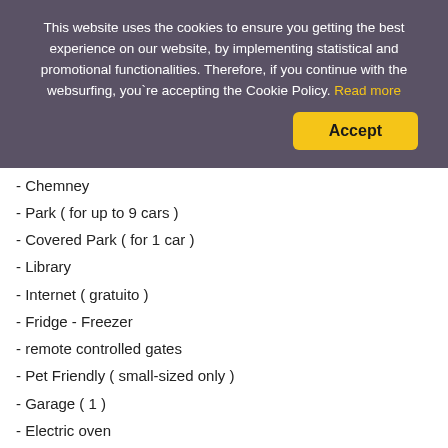This website uses the cookies to ensure you getting the best experience on our website, by implementing statistical and promotional functionalities. Therefore, if you continue with the websurfing, you`re accepting the Cookie Policy. Read more
- Chemney
- Park ( for up to 9 cars )
- Covered Park ( for 1 car )
- Library
- Internet ( gratuito )
- Fridge - Freezer
- remote controlled gates
- Pet Friendly ( small-sized only )
- Garage ( 1 )
- Electric oven
- Ironing board / iron
- Phon / hairdryer
- Suitable for elder